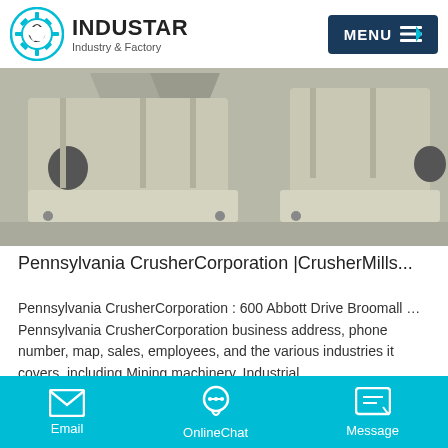INDUSTAR — Industry & Factory
[Figure (photo): Industrial crusher/mill machine parts — heavy gray cast metal blocks on a concrete floor, showing mounting plates and structural components]
Pennsylvania CrusherCorporation |CrusherMills...
Pennsylvania CrusherCorporation : 600 Abbott Drive Broomall …Pennsylvania CrusherCorporation business address, phone number, map, sales, employees, and the various industries it covers, including Mining machinery, Industrial …
Online Chat
Email | OnlineChat | Message